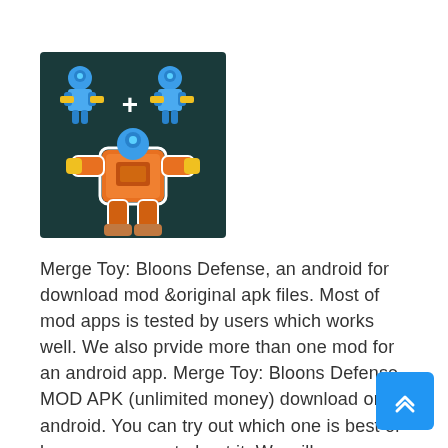[Figure (illustration): Game screenshot/icon for Merge Toy: Bloons Defense showing two small blue robot characters with a plus sign merging into a larger orange mech robot, on a dark teal background.]
Merge Toy: Bloons Defense, an android for download mod &original apk files. Most of mod apps is tested by users which works well. We also prvide more than one mod for an android app. Merge Toy: Bloons Defense MOD APK (unlimited money) download on android. You can try out which one is best or leave a comment about it. We will recommend Merge Toy: Bloons Defense the best mod to the users. CamilaAPK aims to provide 100% working mods to users.